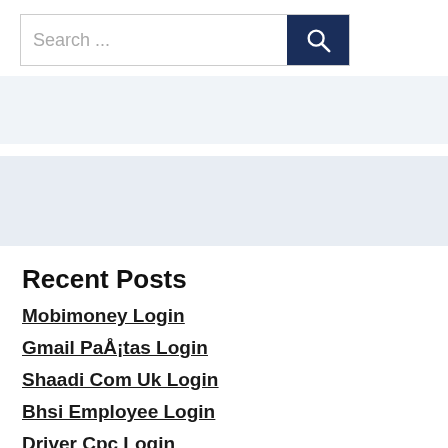Search ...
Recent Posts
Mobimoney Login
Gmail PaÅ¡tas Login
Shaadi Com Uk Login
Bhsi Employee Login
Driver Cpc Login